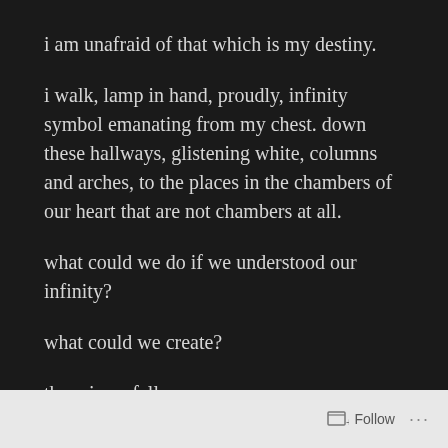i am unafraid of that which is my destiny.
i walk, lamp in hand, proudly, infinity symbol emanating from my chest. down these hallways, glistening white, columns and arches, to the places in the chambers of our heart that are not chambers at all.
what could we do if we understood our infinity?
what could we create?
there is no fall.
Follow ...